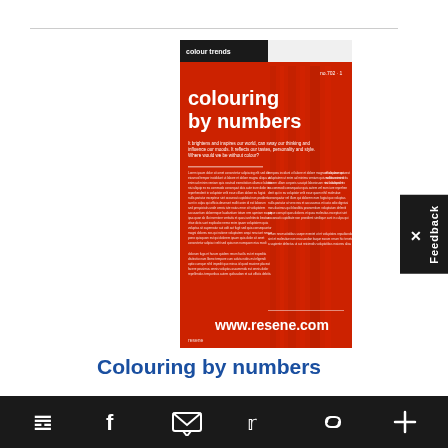[Figure (illustration): Thumbnail of a magazine article page with red background, white text reading 'colouring by numbers', small body text columns, and www.resene.com at the bottom. Black header bar at top with 'colour trends' label.]
Colouring by numbers
It brightens and inspires our world, can sway our thinking and influence our moods. It reflects our tastes, personality and style. Where would we be without colour? So the question is, what's this season's...